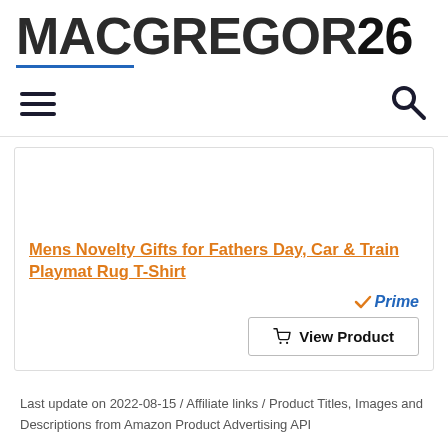[Figure (logo): MacGregor26 logo in bold dark grey text with blue underline]
[Figure (infographic): Navigation bar with hamburger menu icon on left and search magnifying glass icon on right]
Mens Novelty Gifts for Fathers Day, Car & Train Playmat Rug T-Shirt
[Figure (other): Amazon Prime badge with orange checkmark and blue italic Prime text, followed by a View Product button with shopping cart icon]
Last update on 2022-08-15 / Affiliate links / Product Titles, Images and Descriptions from Amazon Product Advertising API